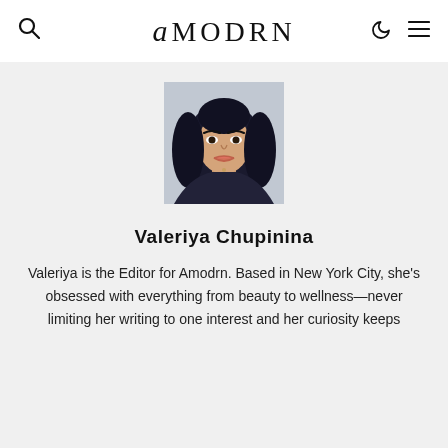amodrn
[Figure (photo): Portrait photo of Valeriya Chupinina, a woman with long dark hair, wearing dark clothing, against a light blue-grey wall background.]
Valeriya Chupinina
Valeriya is the Editor for Amodrn. Based in New York City, she's obsessed with everything from beauty to wellness—never limiting her writing to one interest and her curiosity keeps